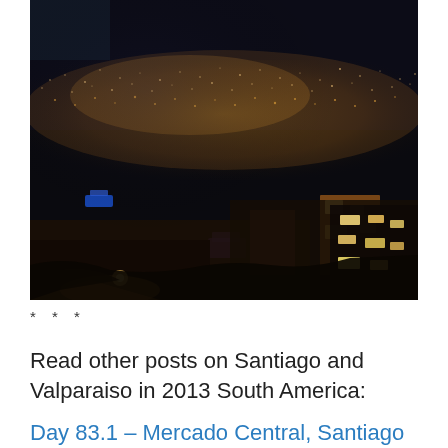[Figure (photo): Night cityscape photograph of Valparaiso, Chile, showing densely packed hillside buildings illuminated by warm orange and yellow street lights, with blue accent lights visible, and a vast glowing city sprawling into the distance against a dark sky.]
* * *
Read other posts on Santiago and Valparaiso in 2013 South America:
Day 83.1 – Mercado Central, Santiago